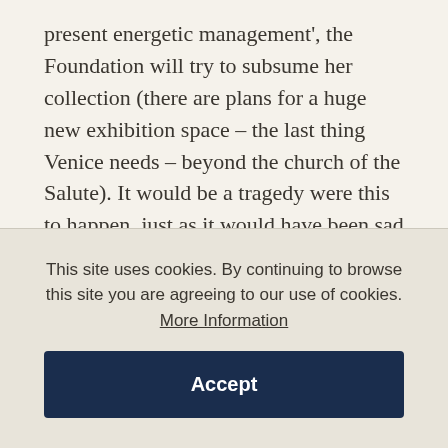present energetic management', the Foundation will try to subsume her collection (there are plans for a huge new exhibition space – the last thing Venice needs – beyond the church of the Salute). It would be a tragedy were this to happen, just as it would have been sad had her collection sunk into the Tate Gallery, as seems nearly to have happened.

Visitors to 'the Guggenheim' who pick their way across the modern sculpture garden assess the
This site uses cookies. By continuing to browse this site you are agreeing to our use of cookies. More Information
Accept